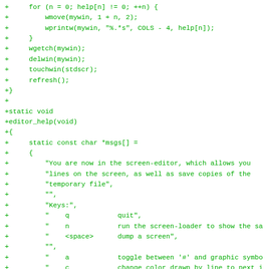+     for (n = 0; help[n] != 0; ++n) {
+         wmove(mywin, 1 + n, 2);
+         wprintw(mywin, "%.*s", COLS - 4, help[n]);
+     }
+     wgetch(mywin);
+     delwin(mywin);
+     touchwin(stdscr);
+     refresh();
+}
+
+static void
+editor_help(void)
+{
+     static const char *msgs[] =
+     {
+         "You are now in the screen-editor, which allows you
+         "lines on the screen, as well as save copies of the
+         "temporary file",
+         "",
+         "Keys:",
+         "    q            quit",
+         "    n            run the screen-loader to show the sa
+         "    <space>      dump a screen",
+         "",
+         "    a            toggle between '#' and graphic symbo
+         "    c            change color drawn by line to next i
+         "    h,j,k,l or arrows to move around the screen, dra
+     };
+     show_help(msgs);
+}
+
+static void